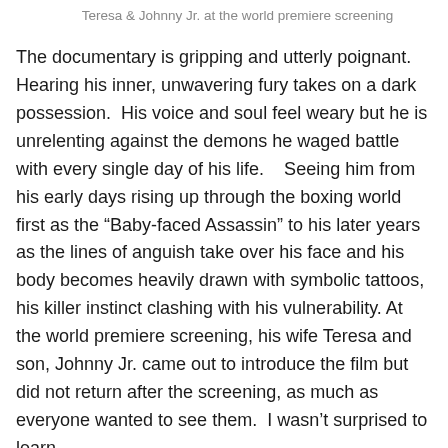Teresa & Johnny Jr. at the world premiere screening
The documentary is gripping and utterly poignant. Hearing his inner, unwavering fury takes on a dark possession.  His voice and soul feel weary but he is unrelenting against the demons he waged battle with every single day of his life.    Seeing him from his early days rising up through the boxing world first as the “Baby-faced Assassin” to his later years as the lines of anguish take over his face and his body becomes heavily drawn with symbolic tattoos, his killer instinct clashing with his vulnerability. At the world premiere screening, his wife Teresa and son, Johnny Jr. came out to introduce the film but did not return after the screening, as much as everyone wanted to see them.  I wasn’t surprised to learn